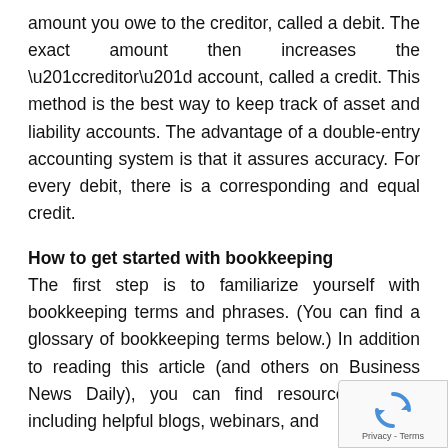amount you owe to the creditor, called a debit. The exact amount then increases the “creditor” account, called a credit. This method is the best way to keep track of asset and liability accounts. The advantage of a double-entry accounting system is that it assures accuracy. For every debit, there is a corresponding and equal credit.
How to get started with bookkeeping
The first step is to familiarize yourself with bookkeeping terms and phrases. (You can find a glossary of bookkeeping terms below.) In addition to reading this article (and others on Business News Daily), you can find resources online, including helpful blogs, webinars, and
[Figure (other): reCAPTCHA privacy badge overlay in bottom-right corner showing recycling-arrow icon and 'Privacy - Terms' text]